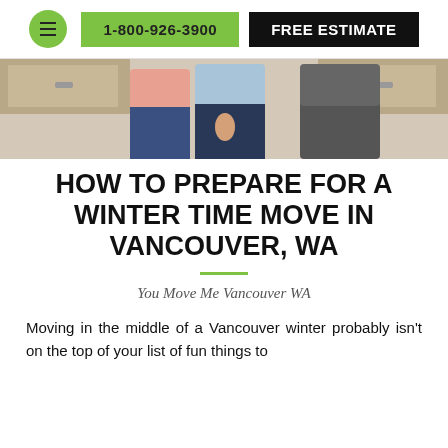1-800-926-3900 | FREE ESTIMATE
[Figure (photo): Two people standing in a kitchen, partially cropped, one in a pink top and jeans, another in dark pants]
HOW TO PREPARE FOR A WINTER TIME MOVE IN VANCOUVER, WA
You Move Me Vancouver WA
Moving in the middle of a Vancouver winter probably isn't on the top of your list of fun things to